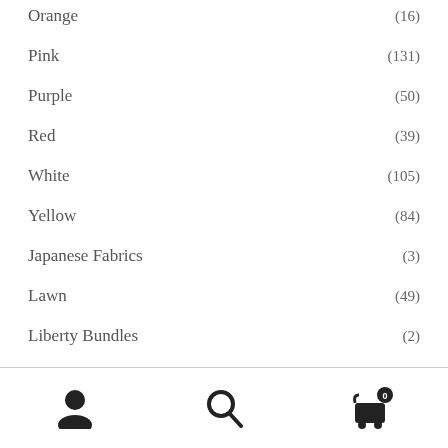Orange (16)
Pink (131)
Purple (50)
Red (39)
White (105)
Yellow (84)
Japanese Fabrics (3)
Lawn (49)
Liberty Bundles (2)
Liberty Clubs (2)
Liberty Tana Lawn (251)